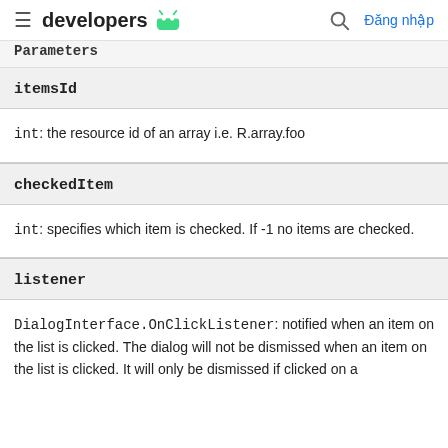≡ developers 🤖 🔍 Đăng nhập
| Parameters |
| --- |
| itemsId |
| int: the resource id of an array i.e. R.array.foo |
| checkedItem |
| int: specifies which item is checked. If -1 no items are checked. |
| listener |
| DialogInterface.OnClickListener: notified when an item on the list is clicked. The dialog will not be dismissed when an item on the list is clicked. It will only be dismissed if clicked on a |